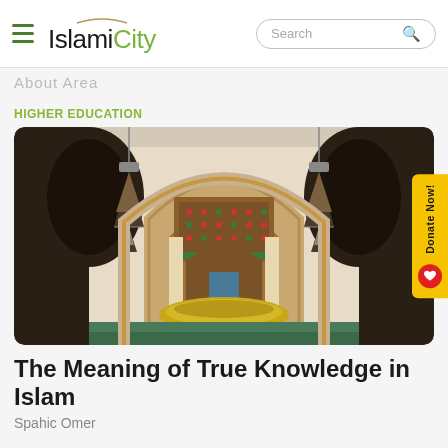IslamiCity
About Area
HIGHER EDUCATION
[Figure (photo): Interior of a historic mosque courtyard showing an ornately decorated mihrab or doorway with geometric patterns in red and green, Moroccan lanterns hanging on either side, white arched columns, and a golden fountain/ablution basin in the foreground]
The Meaning of True Knowledge in Islam
Spahic Omer